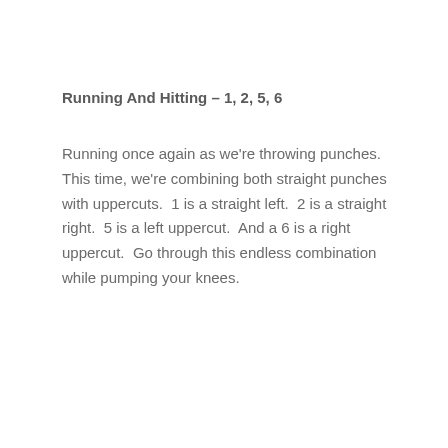Running And Hitting – 1, 2, 5, 6
Running once again as we're throwing punches.  This time, we're combining both straight punches with uppercuts.  1 is a straight left.  2 is a straight right.  5 is a left uppercut.  And a 6 is a right uppercut.  Go through this endless combination while pumping your knees.